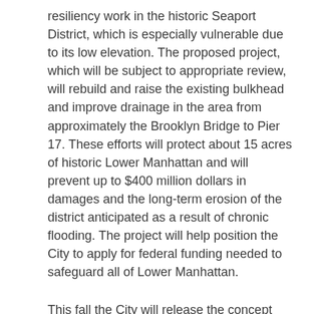resiliency work in the historic Seaport District, which is especially vulnerable due to its low elevation. The proposed project, which will be subject to appropriate review, will rebuild and raise the existing bulkhead and improve drainage in the area from approximately the Brooklyn Bridge to Pier 17. These efforts will protect about 15 acres of historic Lower Manhattan and will prevent up to $400 million dollars in damages and the long-term erosion of the district anticipated as a result of chronic flooding. The project will help position the City to apply for federal funding needed to safeguard all of Lower Manhattan.
This fall the City will release the concept design and seek additional input from the community. The full plan which includes the concept design, technical analysis, and implementation considerations will be released before the end of the year.
Budget: $8 Million (Planning only)